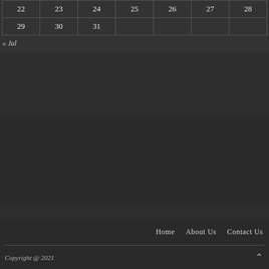| 22 | 23 | 24 | 25 | 26 | 27 | 28 |
| 29 | 30 | 31 |  |  |  |  |
« Jul
Home   About Us   Contact Us
Copyright @ 2021